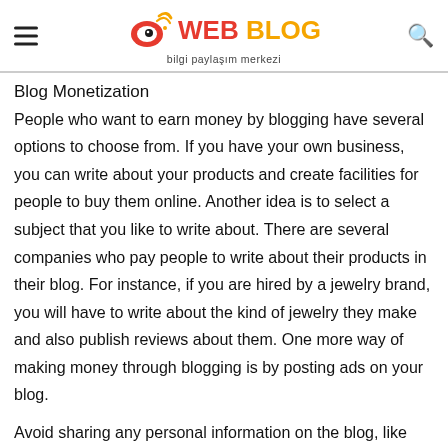WEB BLOG bilgi paylaşım merkezi
Blog Monetization
People who want to earn money by blogging have several options to choose from. If you have your own business, you can write about your products and create facilities for people to buy them online. Another idea is to select a subject that you like to write about. There are several companies who pay people to write about their products in their blog. For instance, if you are hired by a jewelry brand, you will have to write about the kind of jewelry they make and also publish reviews about them. One more way of making money through blogging is by posting ads on your blog.
Avoid sharing any personal information on the blog, like your birth date, phone number, email address, provocative pictures,